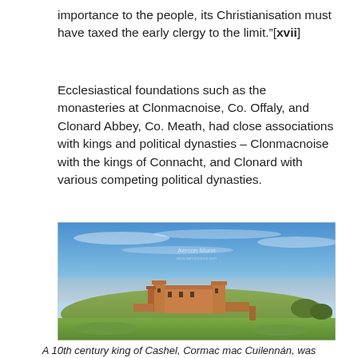importance to the people, its Christianisation must have taxed the early clergy to the limit."[xvii]
Ecclesiastical foundations such as the monasteries at Clonmacnoise, Co. Offaly, and Clonard Abbey, Co. Meath, had close associations with kings and political dynasties – Clonmacnoise with the kings of Connacht, and Clonard with various competing political dynasties.
[Figure (photo): Photograph of the Rock of Cashel at dusk/golden hour — a medieval castle/cathedral ruin on a hilltop with a bright blue sky and green foreground. A watermark reading 'Aercon Munn' is visible near the top centre.]
A 10th century king of Cashel, Cormac mac Cuilennán, was also a bishop.